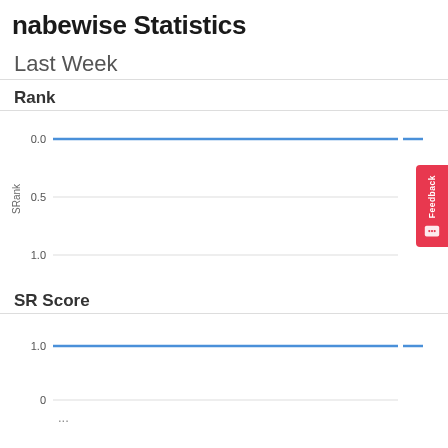nabewise Statistics
Last Week
Rank
[Figure (continuous-plot): Line chart showing SRank over time, y-axis from 0.0 (top) to 1.0 (bottom), with a mostly flat blue line near the top (0.0) and horizontal gridlines at 0.0, 0.5, and 1.0. Y-axis label: SRank. A blue line appears near the top right with a legend marker.]
SR Score
[Figure (continuous-plot): Line chart showing SR Score over time, y-axis starting at 1.0 visible, with a blue line near 1.0. Legend shows 'SR' label. Bottom partially cut off.]